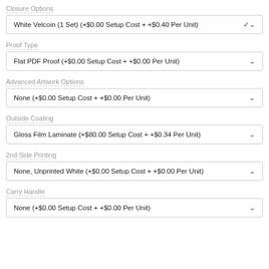Closure Options
White Velcoin (1 Set) (+$0.00 Setup Cost + +$0.40 Per Unit)
Proof Type
Flat PDF Proof (+$0.00 Setup Cost + +$0.00 Per Unit)
Advanced Artwork Options
None (+$0.00 Setup Cost + +$0.00 Per Unit)
Outside Coating
Gloss Film Laminate (+$80.00 Setup Cost + +$0.34 Per Unit)
2nd Side Printing
None, Unprinted White (+$0.00 Setup Cost + +$0.00 Per Unit)
Carry Handle
None (+$0.00 Setup Cost + +$0.00 Per Unit)